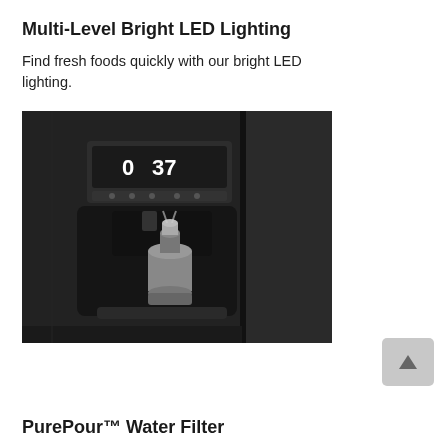Multi-Level Bright LED Lighting
Find fresh foods quickly with our bright LED lighting.
[Figure (photo): Black and white photo of a refrigerator water/ice dispenser panel with a stainless steel bottle being filled. The control panel shows 0 and 37 temperature settings.]
PurePour™ Water Filter